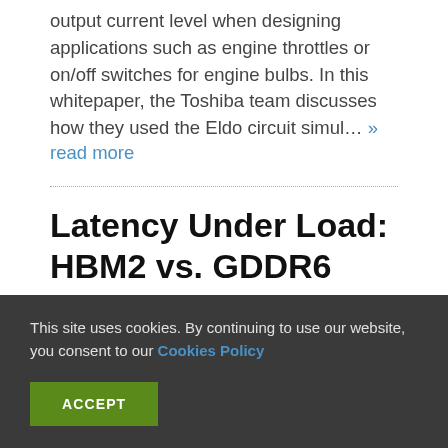output current level when designing applications such as engine throttles or on/off switches for engine bulbs. In this whitepaper, the Toshiba team discusses how they used the Eldo circuit simul… » read more
Latency Under Load: HBM2 vs. GDDR6
BY ED SPERLING - 09 MAY, 2019 - COMMENTS: 0
Steven Woo, Rambus fellow and distinguished
This site uses cookies. By continuing to use our website, you consent to our Cookies Policy
ACCEPT